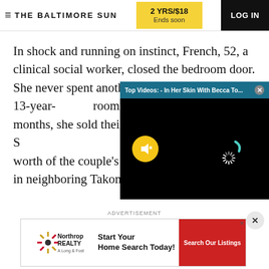THE BALTIMORE SUN | 2 YRS/$18 Ends soon | LOG IN
In shock and running on instinct, French, 52, a clinical social worker, closed the bedroom door. She never spent another night... the couple's 13-year-... room to sleep on cou... months, she sold thei... tainted, century-old S... two decades' worth of the couple's belongings to a new home in neighboring Takoma Park.
[Figure (screenshot): Video overlay popup with teal top bar showing 'Top Videos: - In Her Skin With Becca To...' and a close X button. Black video screen with yellow mute button on left and loading spinner on right.]
ADVERTISEMENT
[Figure (other): Northrop Realty advertisement banner: 'Start Your Home Search Today!' with Search Our Listings button]